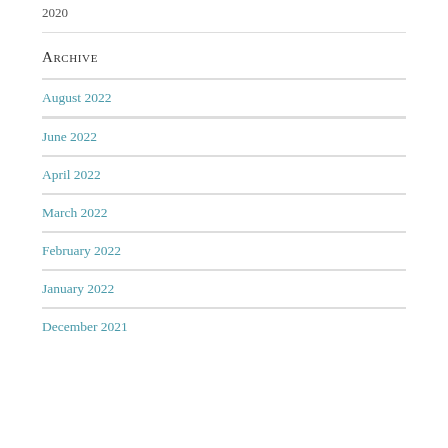2020
Archive
August 2022
June 2022
April 2022
March 2022
February 2022
January 2022
December 2021